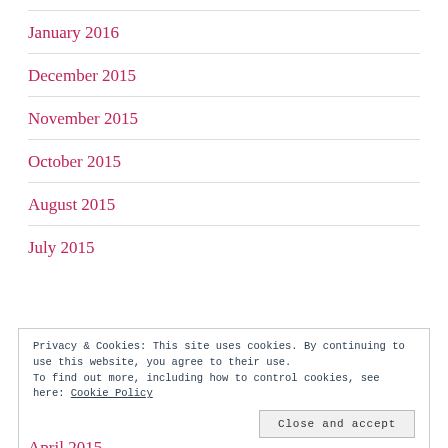January 2016
December 2015
November 2015
October 2015
August 2015
July 2015
Privacy & Cookies: This site uses cookies. By continuing to use this website, you agree to their use.
To find out more, including how to control cookies, see here: Cookie Policy
Close and accept
April 2015